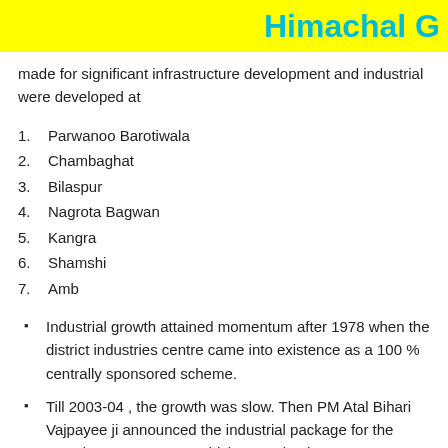Himachal G
made for significant infrastructure development and industrial were developed at
1. Parwanoo Barotiwala
2. Chambaghat
3. Bilaspur
4. Nagrota Bagwan
5. Kangra
6. Shamshi
7. Amb
Industrial growth attained momentum after 1978 when the district industries centre came into existence as a 100 % centrally sponsored scheme.
Till 2003-04 , the growth was slow. Then PM Atal Bihari Vajpayee ji announced the industrial package for the state in January 2003, which proved to be a